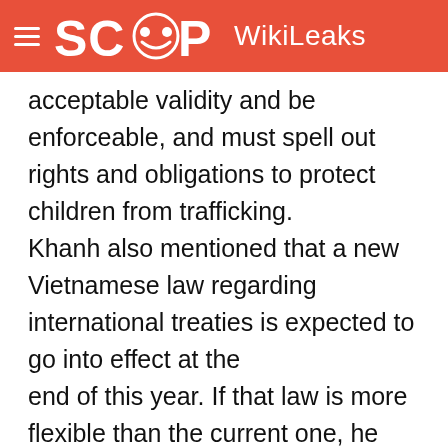SCOOP WikiLeaks
acceptable validity and be enforceable, and must spell out rights and obligations to protect children from trafficking. Khanh also mentioned that a new Vietnamese law regarding international treaties is expected to go into effect at the end of this year. If that law is more flexible than the current one, he said, it might make further negotiations more straightforward.
6. (U) When the ConOff broached the possibility of a